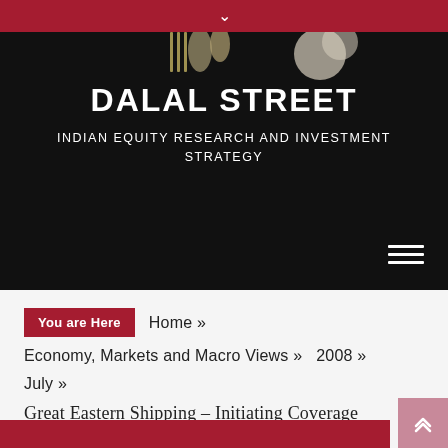DALAL STREET — INDIAN EQUITY RESEARCH AND INVESTMENT STRATEGY
DALAL STREET
INDIAN EQUITY RESEARCH AND INVESTMENT STRATEGY
You are Here  Home »  Economy, Markets and Macro Views »  2008 »  July »  Great Eastern Shipping – Initiating Coverage
Great Eastern Shipping – Initiating Coverage